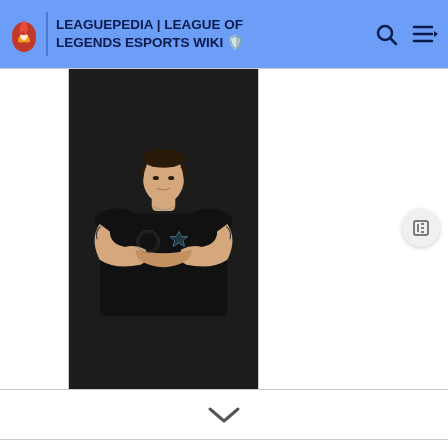LEAGUEPEDIA | LEAGUE OF LEGENDS ESPORTS WIKI
[Figure (photo): Esports player Pinky (Oscar Adrian Gomez Morales) in a black team jersey with crossed arms, photographed from waist up against a white background.]
Oscar Adrian "Pinky" Gomez Morales is a League of Legends esports player, previously top laner for Gravity Elite.
There is a disambiguation page associated with the name Pinky. One other player shares this ID.